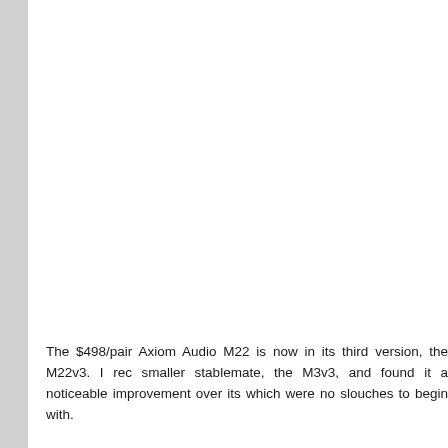The $498/pair Axiom Audio M22 is now in its third version, the M22v3. I rec smaller stablemate, the M3v3, and found it a noticeable improvement over its which were no slouches to begin with.